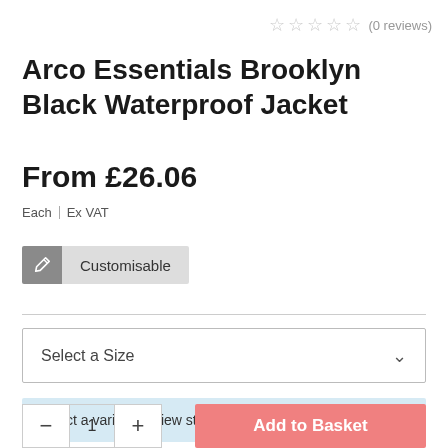(0 reviews)
Arco Essentials Brooklyn Black Waterproof Jacket
From £26.06
Each | Ex VAT
Customisable
Select a Size
Select a variant to view stock information
1
Add to Basket